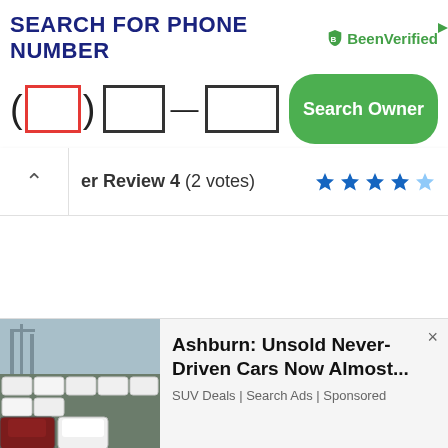[Figure (screenshot): BeenVerified phone number search ad banner with text inputs for area code, prefix, suffix, and a green Search Owner button]
er Review 4 (2 votes)
[Figure (other): Star rating showing approximately 4 out of 5 stars in blue]
[Figure (photo): Advertisement showing cars in a lot with headline: Ashburn: Unsold Never-Driven Cars Now Almost... SUV Deals | Search Ads | Sponsored]